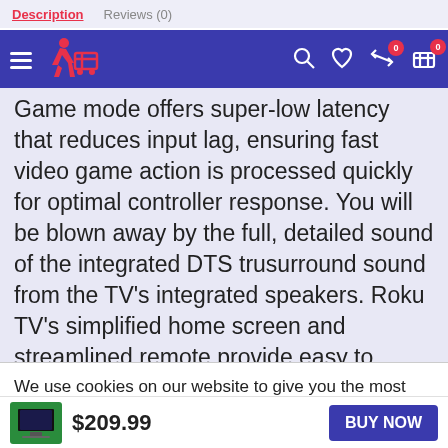Description  Reviews (0)
Game mode offers super-low latency that reduces input lag, ensuring fast video game action is processed quickly for optimal controller response. You will be blown away by the full, detailed sound of the integrated DTS trusurround sound from the TV's integrated speakers. Roku TV's simplified home screen and streamlined remote provide easy to access your cable box or HDTVs...
We use cookies on our website to give you the most relevant experience by remembering your preferences and repeat visits. By clicking "Accept", you consent to the use of ALL the cookies.
$209.99
BUY NOW